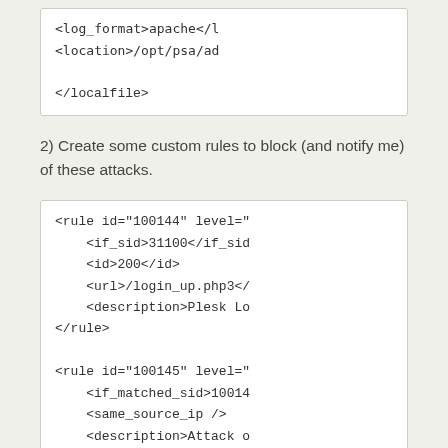[Figure (screenshot): Code block showing XML localfile configuration with log_format apache and location /opt/psa/ado and closing /localfile tag]
2) Create some custom rules to block (and notify me) of these attacks.
[Figure (screenshot): Code block showing XML rule definitions: rule id=100144 with if_sid 31100, id 200, url /login_up.php3, description Plesk Lo..., and rule id=100145 with if_matched_sid 10014..., same_source_ip, description Attack o...]